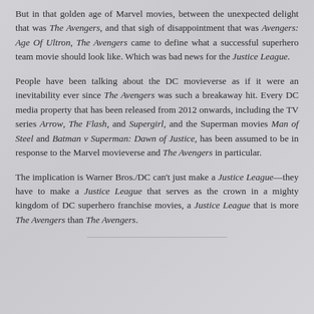But in that golden age of Marvel movies, between the unexpected delight that was The Avengers, and that sigh of disappointment that was Avengers: Age Of Ultron, The Avengers came to define what a successful superhero team movie should look like. Which was bad news for the Justice League.
People have been talking about the DC movieverse as if it were an inevitability ever since The Avengers was such a breakaway hit. Every DC media property that has been released from 2012 onwards, including the TV series Arrow, The Flash, and Supergirl, and the Superman movies Man of Steel and Batman v Superman: Dawn of Justice, has been assumed to be in response to the Marvel movieverse and The Avengers in particular.
The implication is Warner Bros./DC can't just make a Justice League—they have to make a Justice League that serves as the crown in a mighty kingdom of DC superhero franchise movies, a Justice League that is more The Avengers than The Avengers.